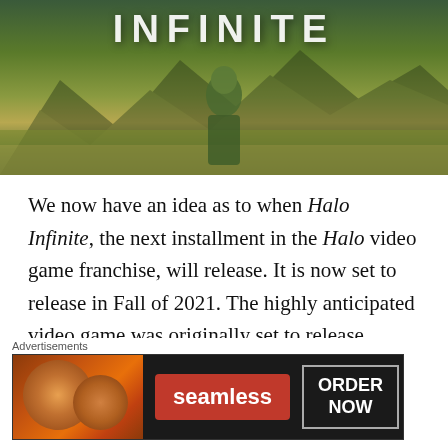[Figure (illustration): Halo Infinite game banner image showing a soldier in green armor standing in a grassland landscape with mountains and trees. The word INFINITE appears in large white letters at the top.]
We now have an idea as to when Halo Infinite, the next installment in the Halo video game franchise, will release. It is now set to release in Fall of 2021. The highly anticipated video game was originally set to release alongside the XBox Series X in December of 2020, but was delayed.
The exact day and month have not been specified
[Figure (screenshot): Seamless food delivery advertisement banner showing pizza images on the left, the Seamless logo in red center, and an ORDER NOW button on the right with dark background.]